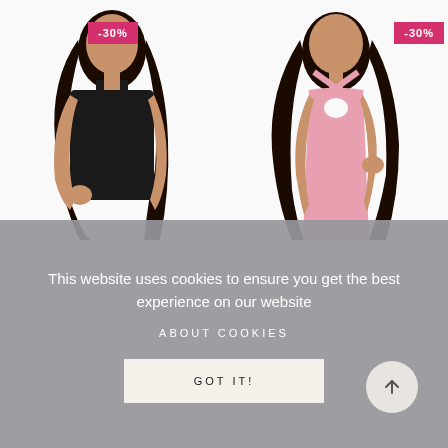[Figure (photo): Two product photos side by side: left shows a woman wearing a black sleeveless bodysuit/shapewear; right shows a woman wearing a pink halter-neck dress with keyhole detail. Each has a -30% discount badge in the top area.]
This website uses cookies to ensure you get the best experience on our website
ABOUT COOKIES
GOT IT!